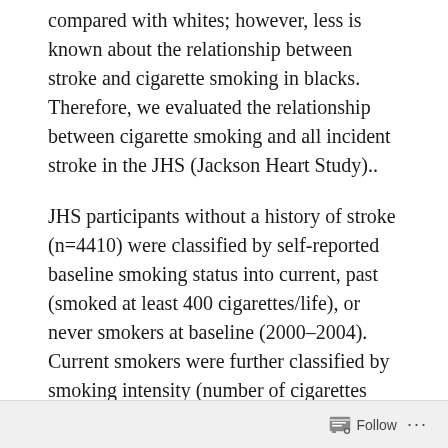compared with whites; however, less is known about the relationship between stroke and cigarette smoking in blacks. Therefore, we evaluated the relationship between cigarette smoking and all incident stroke in the JHS (Jackson Heart Study)..
JHS participants without a history of stroke (n=4410) were classified by self-reported baseline smoking status into current, past (smoked at least 400 cigarettes/life), or never smokers at baseline (2000–2004). Current smokers were further classified by smoking intensity (number of cigarettes smoked per day [1–19 and ≥20]) and followed up for incident stroke (through 2015).
Follow ···